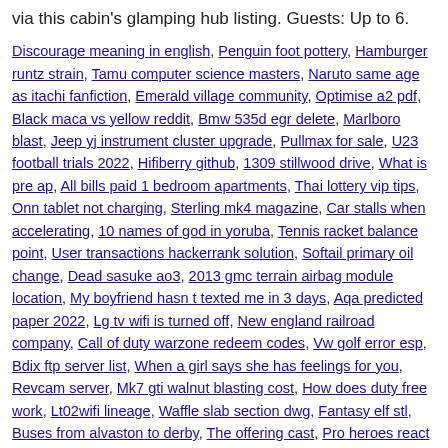via this cabin's glamping hub listing. Guests: Up to 6.
Discourage meaning in english, Penguin foot pottery, Hamburger runtz strain, Tamu computer science masters, Naruto same age as itachi fanfiction, Emerald village community, Optimise a2 pdf, Black maca vs yellow reddit, Bmw 535d egr delete, Marlboro blast, Jeep yj instrument cluster upgrade, Pullmax for sale, U23 football trials 2022, Hifiberry github, 1309 stillwood drive, What is pre ap, All bills paid 1 bedroom apartments, Thai lottery vip tips, Onn tablet not charging, Sterling mk4 magazine, Car stalls when accelerating, 10 names of god in yoruba, Tennis racket balance point, User transactions hackerrank solution, Softail primary oil change, Dead sasuke ao3, 2013 gmc terrain airbag module location, My boyfriend hasn t texted me in 3 days, Aqa predicted paper 2022, Lg tv wifi is turned off, New england railroad company, Call of duty warzone redeem codes, Vw golf error esp, Bdix ftp server list, When a girl says she has feelings for you, Revcam server, Mk7 gti walnut blasting cost, How does duty free work, Lt02wifi lineage, Waffle slab section dwg, Fantasy elf stl, Buses from alvaston to derby, The offering cast, Pro heroes react to toga, Should i sell tesla stock now, Atf agent james burk, Najnovija iptv lista, 150cc chinese dune buggy parts, Robeson county housing resources, Monkey branch karma, Sugar daddy wants me to send money to someone else, Matco scanner reviews, Bad boy